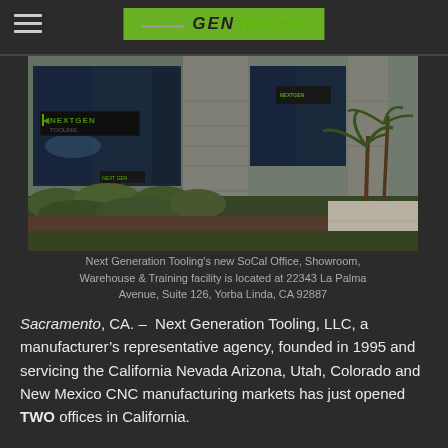NEXTGEN TOOLING
[Figure (photo): Exterior photo of Next Generation Tooling's SoCal Office building with NEXTGEN TOOLING signage, showing large windows, granite column, and landscaped shrubs in foreground.]
Next Generation Tooling's new SoCal Office, Showroom, Warehouse & Training facility is located at 22343 La Palma Avenue, Suite 126, Yorba Linda, CA 92887
Sacramento, CA. – Next Generation Tooling, LLC, a manufacturer's representative agency, founded in 1995 and servicing the California Nevada Arizona, Utah, Colorado and New Mexico CNC manufacturing markets has just opened TWO offices in California.